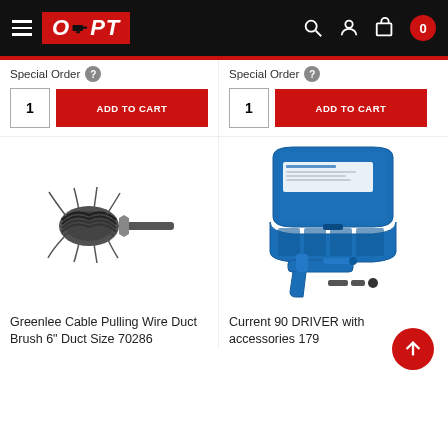OPT - Online Power Tools
Special Order
Special Order
1  ADD TO CART
1  ADD TO CART
[Figure (photo): Greenlee cable pulling wire duct brush - a cylindrical wire brush with hex shank]
[Figure (photo): Current 90 Driver kit with accessories in a blue carrying case, including a rivet gun tool and accessories]
Greenlee Cable Pulling Wire Duct Brush 6" Duct Size 70286
Current 90 DRIVER with accessories 179